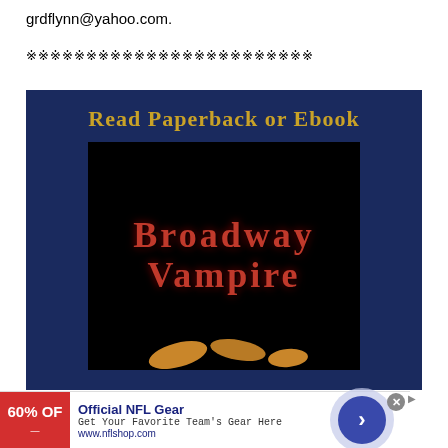grdflynn@yahoo.com.
※※※※※※※※※※※※※※※※※※※※※※※※
[Figure (illustration): Dark navy blue advertisement banner reading 'Read Paperback or Ebook' in gold text, with a book cover for 'Broadway Vampire' showing red stylized text on a black background, and feet/legs visible at the bottom.]
[Figure (infographic): NFL Shop advertisement: red box with '60% OFF' text, 'Official NFL Gear' headline in blue, 'Get Your Favorite Team's Gear Here' text, 'www.nflshop.com' URL in blue, and a blue arrow button on the right. Close X button in gray.]